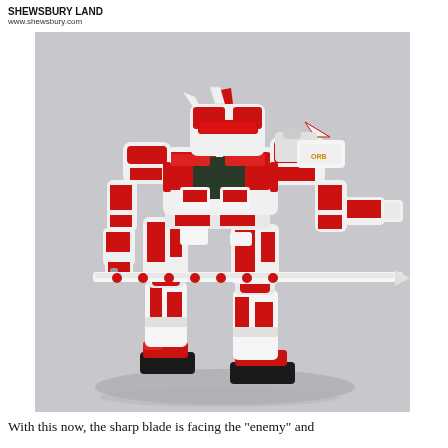SHEWSBURY LAND
www.shewsbury.com
[Figure (photo): A red and white Gundam Astray figure in an action pose, holding a sword/blade weapon extended to the right. The mecha model has distinctive red and white color scheme with black accents, photographed against a light gray background.]
With this now, the sharp blade is facing the "enemy" and